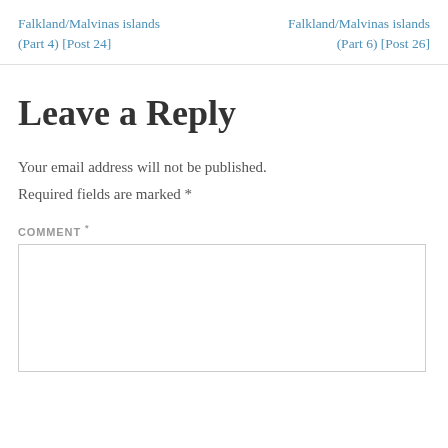Falkland/Malvinas islands (Part 4) [Post 24]
Falkland/Malvinas islands (Part 6) [Post 26]
Leave a Reply
Your email address will not be published. Required fields are marked *
COMMENT *